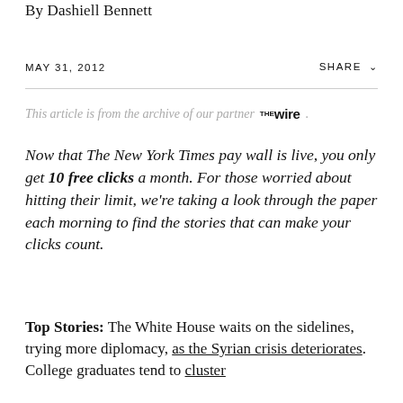By Dashiell Bennett
MAY 31, 2012
SHARE
This article is from the archive of our partner THE WIRE.
Now that The New York Times pay wall is live, you only get 10 free clicks a month. For those worried about hitting their limit, we're taking a look through the paper each morning to find the stories that can make your clicks count.
Top Stories: The White House waits on the sidelines, trying more diplomacy, as the Syrian crisis deteriorates. College graduates tend to cluster